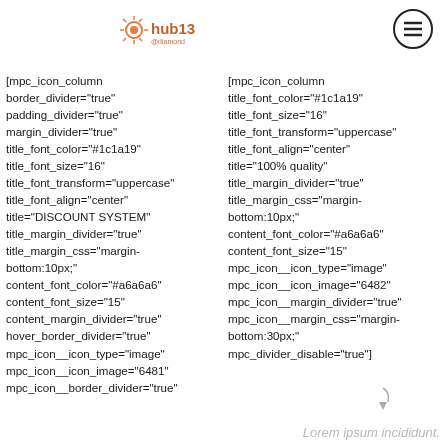hub13 [logo with sun icon and menu hamburger icon]
[mpc_icon_column border_divider="true" padding_divider="true" margin_divider="true" title_font_color="#1c1a19" title_font_size="16" title_font_transform="uppercase" title_font_align="center" title="DISCOUNT SYSTEM" title_margin_divider="true" title_margin_css="margin-bottom:10px;" content_font_color="#a6a6a6" content_font_size="15" content_margin_divider="true" hover_border_divider="true" mpc_icon__icon_type="image" mpc_icon__icon_image="6481" mpc_icon__border_divider="true"
[mpc_icon_column title_font_color="#1c1a19" title_font_size="16" title_font_transform="uppercase" title_font_align="center" title="100% quality" title_margin_divider="true" title_margin_css="margin-bottom:10px;" content_font_color="#a6a6a6" content_font_size="15" mpc_icon__icon_type="image" mpc_icon__icon_image="6482" mpc_icon__margin_divider="true" mpc_icon__margin_css="margin-bottom:30px;" mpc_divider_disable="true"]
Lorem ipsum incididunt.